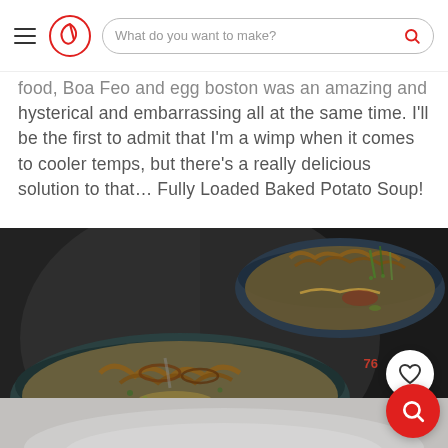What do you want to make?
...food, Boa Feo and egg boston was an amazing and hysterical and embarrassing all at the same time. I'll be the first to admit that I'm a wimp when it comes to cooler temps, but there's a really delicious solution to that... Fully Loaded Baked Potato Soup!
[Figure (photo): Two dark bowls of Fully Loaded Baked Potato Soup topped with crispy onions, green onions, cheese, and bacon bits, photographed on a dark background]
[Figure (photo): Gray/white background with partial bowl visible at bottom]